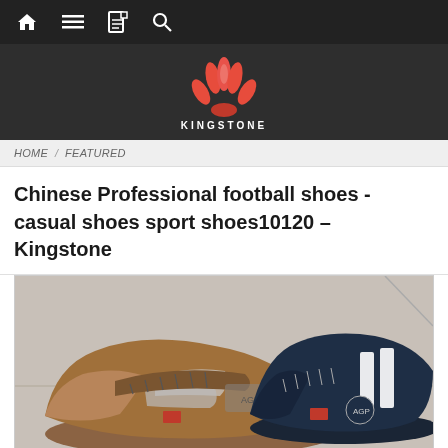Navigation bar with home, menu, account, and search icons
[Figure (logo): Kingstone logo - red stylized fan/flower shape above text KINGSTONE on dark background]
HOME / FEATURED
Chinese Professional football shoes - casual shoes sport shoes10120 – Kingstone
[Figure (photo): Photo of two sneakers/casual shoes - a brown one on the left and a dark navy/black one on the right, both with white stripe details and brand logos, on a light surface]